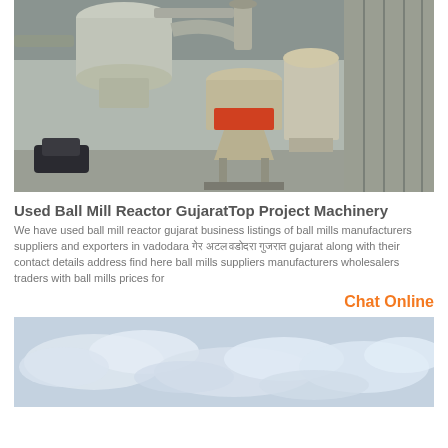[Figure (photo): Industrial ball mill machinery in a factory setting, showing large grinding equipment with pipes and metal framework]
Used Ball Mill Reactor GujaratTop Project Machinery
We have used ball mill reactor gujarat business listings of ball mills manufacturers suppliers and exporters in vadodara गेर अटल वडोदरा गुजरात gujarat along with their contact details address find here ball mills suppliers manufacturers wholesalers traders with ball mills prices for
Chat Online
[Figure (photo): Sky with clouds, pale blue sky background]